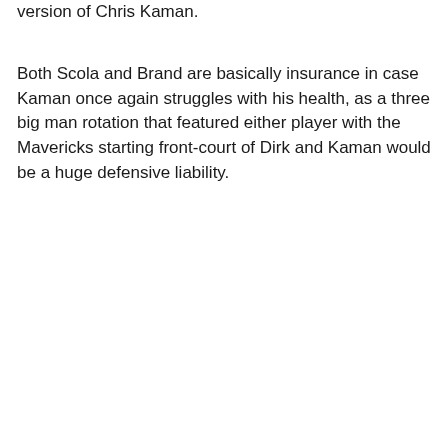version of Chris Kaman.
Both Scola and Brand are basically insurance in case Kaman once again struggles with his health, as a three big man rotation that featured either player with the Mavericks starting front-court of Dirk and Kaman would be a huge defensive liability.